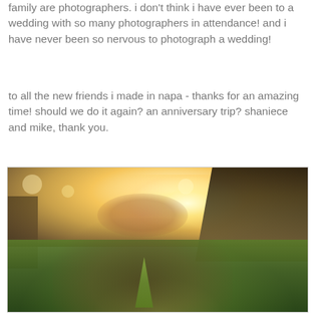family are photographers.  i don't think i have ever been to a wedding with so many photographers in attendance!  and i have never been so nervous to photograph a wedding!
to all the new friends i made in napa - thanks for an amazing time!  should we do it again?  an anniversary trip?  shaniece and mike, thank you.
[Figure (photo): Outdoor photo with bright sunburst/backlight, trees in background, couple or figure silhouetted in the foreground among vineyard greenery, golden light]